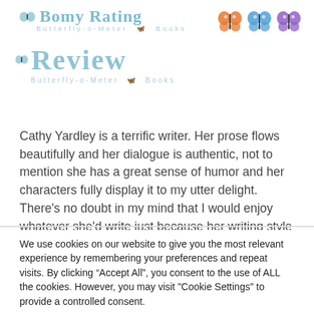Bomy Rating — Butterfly-o-Meter Books (with butterfly icons)
Review — Butterfly-o-Meter Books
Cathy Yardley is a terrific writer. Her prose flows beautifully and her dialogue is authentic, not to mention she has a great sense of humor and her characters fully display it to my utter delight. There's no doubt in my mind that I would enjoy whatever she'd write just because her writing style is so in
We use cookies on our website to give you the most relevant experience by remembering your preferences and repeat visits. By clicking "Accept All", you consent to the use of ALL the cookies. However, you may visit "Cookie Settings" to provide a controlled consent.